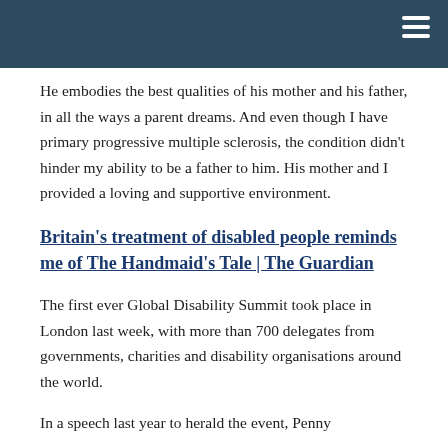He embodies the best qualities of his mother and his father, in all the ways a parent dreams. And even though I have primary progressive multiple sclerosis, the condition didn't hinder my ability to be a father to him. His mother and I provided a loving and supportive environment.
Britain's treatment of disabled people reminds me of The Handmaid's Tale | The Guardian
The first ever Global Disability Summit took place in London last week, with more than 700 delegates from governments, charities and disability organisations around the world.
In a speech last year to herald the event, Penny